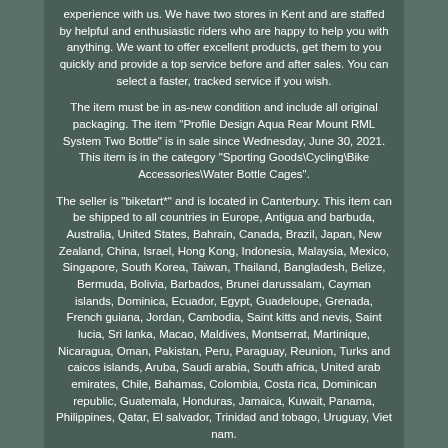experience with us. We have two stores in Kent and are staffed by helpful and enthusiastic riders who are happy to help you with anything. We want to offer excellent products, get them to you quickly and provide a top service before and after sales. You can select a faster, tracked service if you wish.
The item must be in as-new condition and include all original packaging. The item "Profile Design Aqua Rear Mount RML System Two Bottle" is in sale since Wednesday, June 30, 2021. This item is in the category "Sporting Goods\Cycling\Bike Accessories\Water Bottle Cages".
The seller is "biketart*" and is located in Canterbury. This item can be shipped to all countries in Europe, Antigua and barbuda, Australia, United States, Bahrain, Canada, Brazil, Japan, New Zealand, China, Israel, Hong Kong, Indonesia, Malaysia, Mexico, Singapore, South Korea, Taiwan, Thailand, Bangladesh, Belize, Bermuda, Bolivia, Barbados, Brunei darussalam, Cayman islands, Dominica, Ecuador, Egypt, Guadeloupe, Grenada, French guiana, Jordan, Cambodia, Saint kitts and nevis, Saint lucia, Sri lanka, Macao, Maldives, Montserrat, Martinique, Nicaragua, Oman, Pakistan, Peru, Paraguay, Reunion, Turks and caicos islands, Aruba, Saudi arabia, South africa, United arab emirates, Chile, Bahamas, Colombia, Costa rica, Dominican republic, Guatemala, Honduras, Jamaica, Kuwait, Panama, Philippines, Qatar, El salvador, Trinidad and tobago, Uruguay, Viet nam.
Brand: Profile Design
Type: Water Bottle Cage
MPN: Does Not Apply